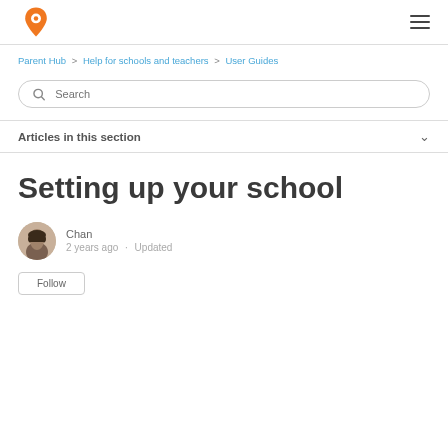Pinpoint logo and navigation menu
Parent Hub > Help for schools and teachers > User Guides
Search
Articles in this section
Setting up your school
Chan
2 years ago · Updated
Follow